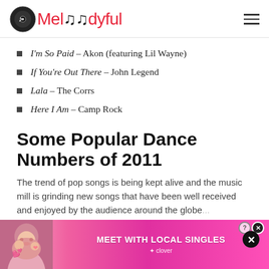Melodyful
I'm So Paid – Akon (featuring Lil Wayne)
If You're Out There – John Legend
Lala – The Corrs
Here I Am – Camp Rock
Some Popular Dance Numbers of 2011
The trend of pop songs is being kept alive and the music mill is grinding new songs that have been well received and enjoyed by the audience around the globe...rocking...
[Figure (other): Advertisement banner: Meet With Local Singles – Clover app ad with a photo of a smiling woman and pink background]